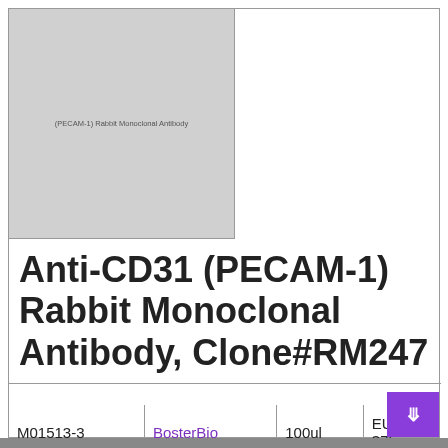[Figure (photo): Product image placeholder for Anti-CD31 (PECAM-1) Rabbit Monoclonal Antibody with label text]
Anti-CD31 (PECAM-1) Rabbit Monoclonal Antibody, Clone#RM247
| Catalog | Vendor | Size | Price |
| --- | --- | --- | --- |
| M01513-3 | BosterBio | 100ul | EUR 375 |
Description: Anti-CD31 (PECAM-1) Rabbit Monoclonal Antibody, Clone#RM247 tested in WB, IHC, reactive to Human